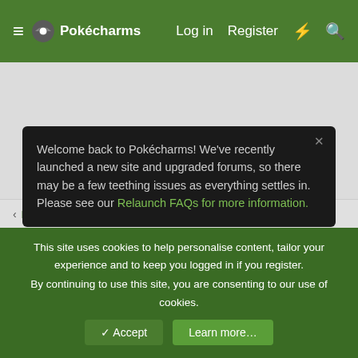≡  Pokécharms   Log in  Register  ⚡  🔍
Welcome back to Pokécharms! We've recently launched a new site and upgraded forums, so there may be a few teething issues as everything settles in. Please see our Relaunch FAQs for more information.
Pokécharms Organised Play
This site uses cookies to help personalise content, tailor your experience and to keep you logged in if you register. By continuing to use this site, you are consenting to our use of cookies.
✓ Accept   Learn more…